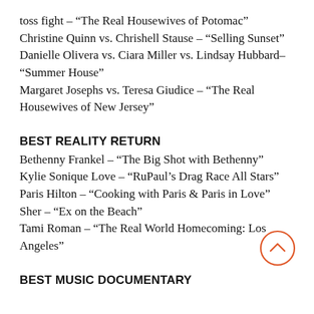toss fight – “The Real Housewives of Potomac”
Christine Quinn vs. Chrishell Stause – “Selling Sunset”
Danielle Olivera vs. Ciara Miller vs. Lindsay Hubbard– “Summer House”
Margaret Josephs vs. Teresa Giudice – “The Real Housewives of New Jersey”
BEST REALITY RETURN
Bethenny Frankel – “The Big Shot with Bethenny”
Kylie Sonique Love – “RuPaul’s Drag Race All Stars”
Paris Hilton – “Cooking with Paris & Paris in Love”
Sher – “Ex on the Beach”
Tami Roman – “The Real World Homecoming: Los Angeles”
BEST MUSIC DOCUMENTARY